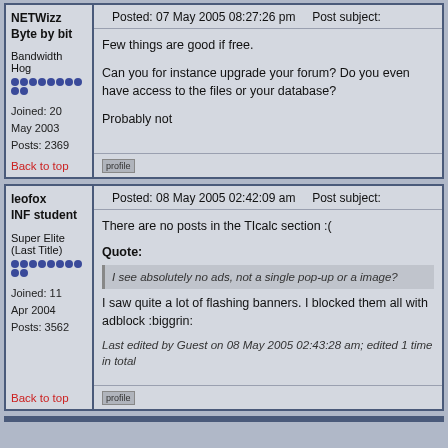NETWizz
Byte by bit
Bandwidth Hog
Joined: 20 May 2003
Posts: 2369
Posted: 07 May 2005 08:27:26 pm    Post subject:
Few things are good if free.
Can you for instance upgrade your forum? Do you even have access to the files or your database?
Probably not
Back to top
leofox
INF student
Super Elite (Last Title)
Joined: 11 Apr 2004
Posts: 3562
Posted: 08 May 2005 02:42:09 am    Post subject:
There are no posts in the TIcalc section :(
Quote:
I see absolutely no ads, not a single pop-up or a image?
I saw quite a lot of flashing banners. I blocked them all with adblock :biggrin:
Last edited by Guest on 08 May 2005 02:43:28 am; edited 1 time in total
Back to top